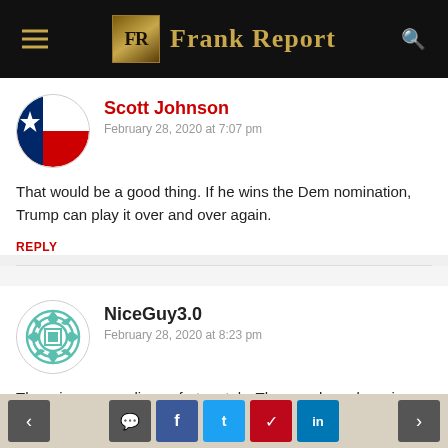Frank Report
Scott Johnson
February 28, 2020 at 7:07 pm
That would be a good thing. If he wins the Dem nomination, Trump can play it over and over again.
REPLY
NiceGuy3.0
February 28, 2020 at 8:23 pm
There is no recording unfortunately. The guy deep down is a communist no matter what he
< [comment] [f] [t] [p] [in] >